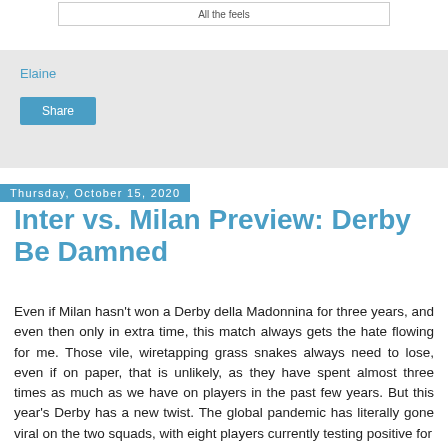[Figure (other): Top portion of an image with caption 'All the feels']
Elaine
Share
Thursday, October 15, 2020
Inter vs. Milan Preview: Derby Be Damned
Even if Milan hasn't won a Derby della Madonnina for three years, and even then only in extra time, this match always gets the hate flowing for me. Those vile, wiretapping grass snakes always need to lose, even if on paper, that is unlikely, as they have spent almost three times as much as we have on players in the past few years. But this year's Derby has a new twist. The global pandemic has literally gone viral on the two squads, with eight players currently testing positive for